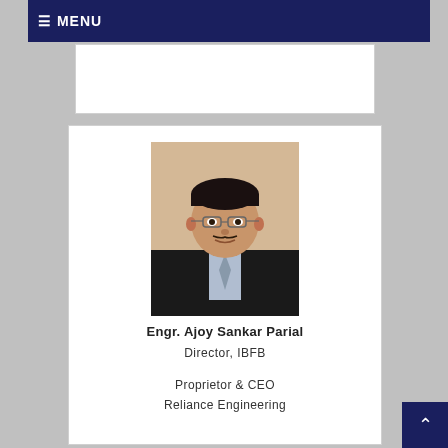≡ MENU
[Figure (photo): Profile photo of Engr. Ajoy Sankar Parial, a man in a dark suit with glasses, formal headshot on light background]
Engr. Ajoy Sankar Parial
Director, IBFB
Proprietor & CEO
Reliance Engineering